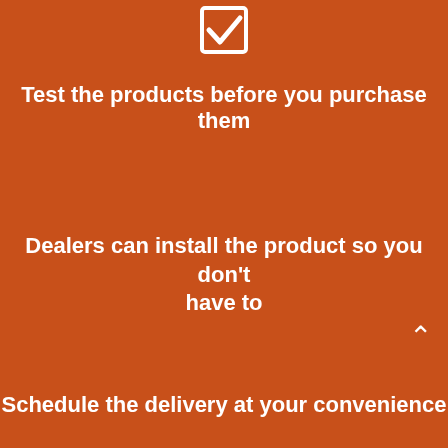[Figure (illustration): A white checkbox/checkmark icon at the top center of the page]
Test the products before you purchase them
Dealers can install the product so you don't have to
Schedule the delivery at your convenience